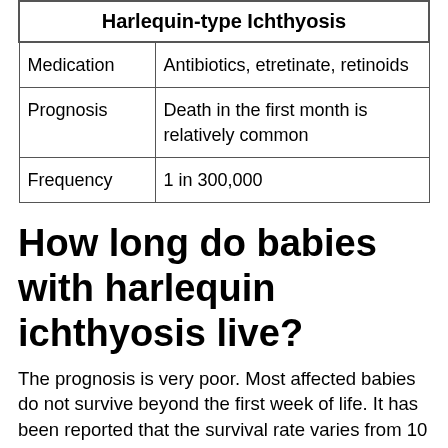| Harlequin-type Ichthyosis |
| --- |
| Medication | Antibiotics, etretinate, retinoids |
| Prognosis | Death in the first month is relatively common |
| Frequency | 1 in 300,000 |
How long do babies with harlequin ichthyosis live?
The prognosis is very poor. Most affected babies do not survive beyond the first week of life. It has been reported that the survival rate varies from 10 months to 25 years with supportive treatment depending on the severity of the condition(8)